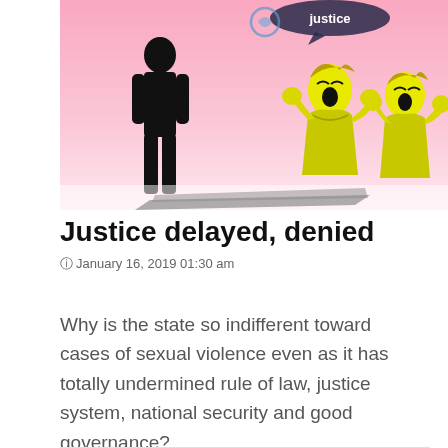[Figure (illustration): Illustration showing a dark silhouette of a man on the left casting a long shadow, and two women in yellow on the right appearing distressed, with a pink background and speech bubble saying 'justice' at the top.]
Justice delayed, denied
January 16, 2019 01:30 am
Why is the state so indifferent toward cases of sexual violence even as it has totally undermined rule of law, justice system, national security and good governance?